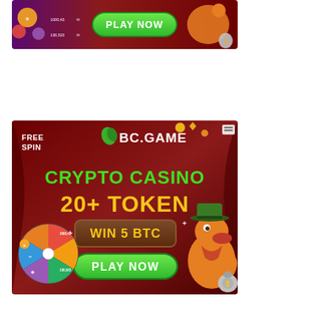[Figure (advertisement): Top partial BC.GAME crypto casino advertisement banner showing 'PLAY NOW' green button, colorful casino tokens with numbers 1000,43 and 130,523, and an orange cartoon crocodile character with a money bag.]
[Figure (advertisement): Full BC.GAME crypto casino advertisement. Dark red background with western theme. Top left: 'FREE SPIN' text. BC.GAME logo with green leaf icon. Text reads 'CRYPTO CASINO 20+ TOKEN' in green and yellow. 'WIN 5 BTC' in yellow on brown badge. 'PLAY NOW' green button at bottom. Left side shows a colorful spin wheel with crypto tokens (values 1000,43 and 130,523). Right side shows orange cartoon cowboy crocodile holding a money bag with bitcoin symbol. Small ad label icon in top right corner.]